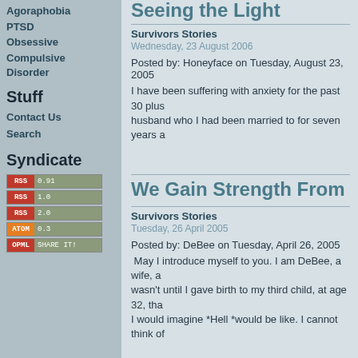Agoraphobia
PTSD
Obsessive Compulsive Disorder
Stuff
Contact Us
Search
Syndicate
[Figure (other): RSS feed buttons: RSS 0.91, RSS 1.0, RSS 2.0, ATOM 0.3, OPML SHARE IT!]
Seeing the Light
Survivors Stories
Wednesday, 23 August 2006
Posted by: Honeyface on Tuesday, August 23, 2005
I have been suffering with anxiety for the past 30 plus husband who I had been married to for seven years a
We Gain Strength From One
Survivors Stories
Tuesday, 26 April 2005
Posted by: DeBee on Tuesday, April 26, 2005
May I introduce myself to you. I am DeBee, a wife, a wasn't until I gave birth to my third child, at age 32, tha I would imagine *Hell *would be like. I cannot think of